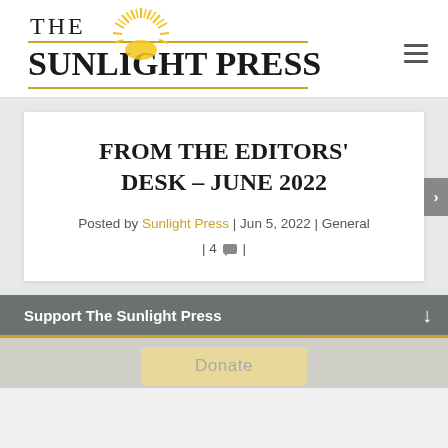[Figure (logo): The Sunlight Press newspaper logo with golden sun rays graphic, two horizontal gold lines, and bold serif text reading THE SUNLIGHT PRESS]
FROM THE EDITORS' DESK – JUNE 2022
Posted by Sunlight Press | Jun 5, 2022 | General | 4 💬 |
Support The Sunlight Press
Donate